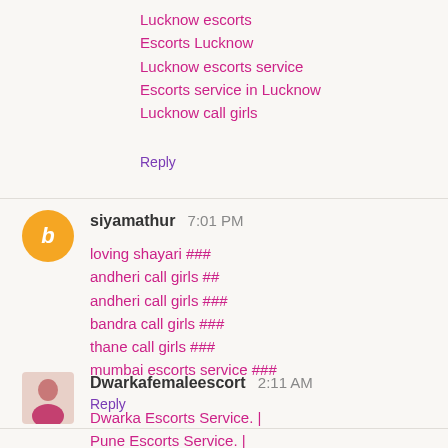Lucknow escorts
Escorts Lucknow
Lucknow escorts service
Escorts service in Lucknow
Lucknow call girls
Reply
siyamathur  7:01 PM
loving shayari ###
andheri call girls ##
andheri call girls ###
bandra call girls ###
thane call girls ###
mumbai escorts service ###
Reply
Dwarkafemaleescort  2:11 AM
Dwarka Escorts Service. |
Pune Escorts Service. |